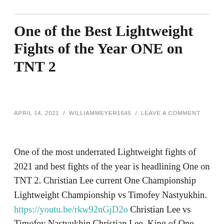One of the Best Lightweight Fights of the Year ONE on TNT 2
APRIL 14, 2021 / WILLIAMMEYER1645 / LEAVE A COMMENT
One of the most underrated Lightweight fights of 2021 and best fights of the year is headlining One on TNT 2. Christian Lee current One Championship Lightweight Championship vs Timofey Nastyukhin. https://youtu.be/rkw92nGjD2o Christian Lee vs Timofey Nastyukhin Christian Lee, King of One Championship. Superstar of One Championship, Reigning over the Lightweight division defeated Former Deen... Continue reading